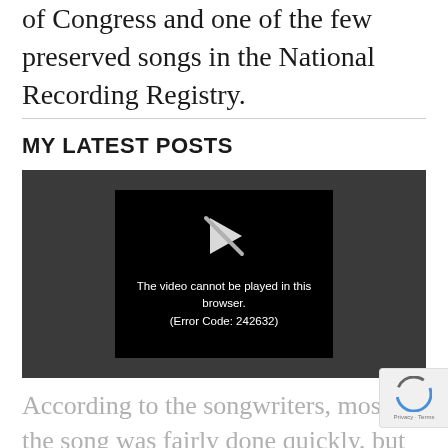of Congress and one of the few preserved songs in the National Recording Registry.
MY LATEST POSTS
[Figure (screenshot): Embedded video player showing an error message: 'The video cannot be played in this browser. (Error Code: 242632)' on a dark background with a play icon that has an X through it.]
According to the songwriters, most of the song was fairly done quickly, but they got